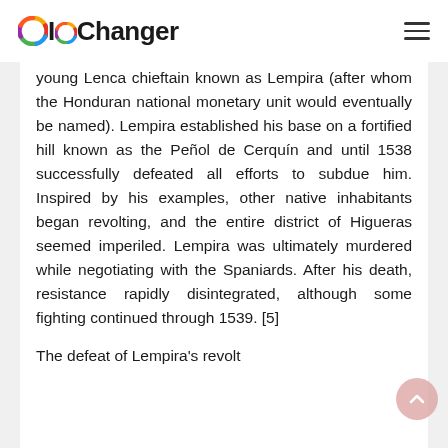IOChanger
young Lenca chieftain known as Lempira (after whom the Honduran national monetary unit would eventually be named). Lempira established his base on a fortified hill known as the Peñol de Cerquín and until 1538 successfully defeated all efforts to subdue him. Inspired by his examples, other native inhabitants began revolting, and the entire district of Higueras seemed imperiled. Lempira was ultimately murdered while negotiating with the Spaniards. After his death, resistance rapidly disintegrated, although some fighting continued through 1539. [5]
The defeat of Lempira's revolt